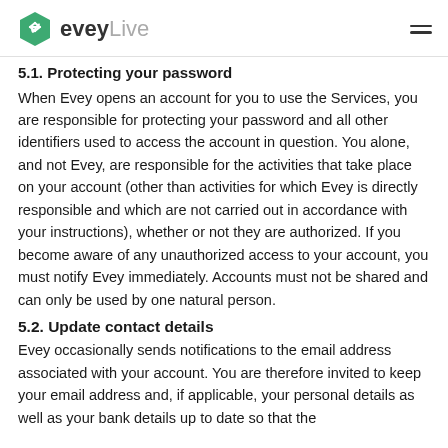eveyLive
5.1. Protecting your password
When Evey opens an account for you to use the Services, you are responsible for protecting your password and all other identifiers used to access the account in question. You alone, and not Evey, are responsible for the activities that take place on your account (other than activities for which Evey is directly responsible and which are not carried out in accordance with your instructions), whether or not they are authorized. If you become aware of any unauthorized access to your account, you must notify Evey immediately. Accounts must not be shared and can only be used by one natural person.
5.2. Update contact details
Evey occasionally sends notifications to the email address associated with your account. You are therefore invited to keep your email address and, if applicable, your personal details as well as your bank details up to date so that the